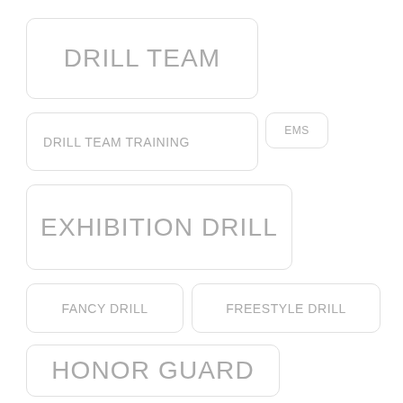DRILL TEAM
DRILL TEAM TRAINING
EMS
EXHIBITION DRILL
FANCY DRILL
FREESTYLE DRILL
HONOR GUARD
HONOR GUARD TRAINING